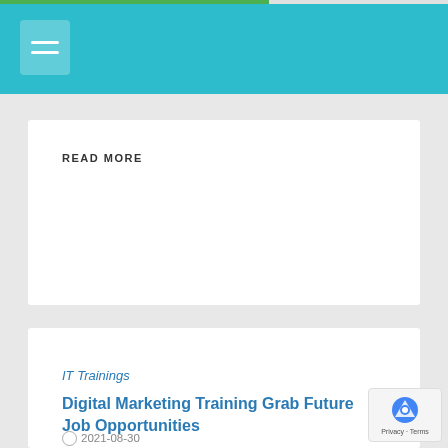READ MORE
IT Trainings
Digital Marketing Training Grab Future Job Opportunities
2021-08-30
Croma campus provides information to people about advertise or marketing strategy promotion by using digital technology such as mobile SMS, Web design, C advanced Search Engine Optimization (SEO), Pay Per Click (PPC) , Social Media- Twitter, Facebook, LinkedIn,